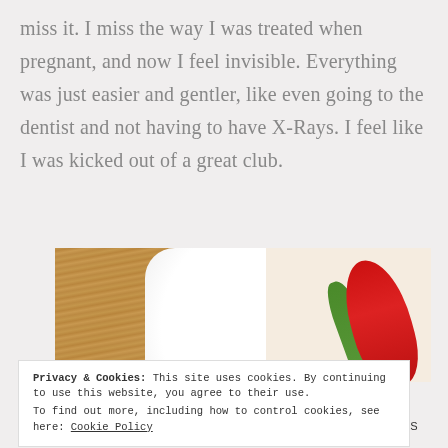miss it. I miss the way I was treated when pregnant, and now I feel invisible. Everything was just easier and gentler, like even going to the dentist and not having to have X-Rays. I feel like I was kicked out of a great club.
[Figure (photo): Photo showing a wooden surface on the left, a white fluffy towel in the center, and a floral fabric with red and green design on the right.]
Privacy & Cookies: This site uses cookies. By continuing to use this website, you agree to their use.
To find out more, including how to control cookies, see here: Cookie Policy
0 SHARES